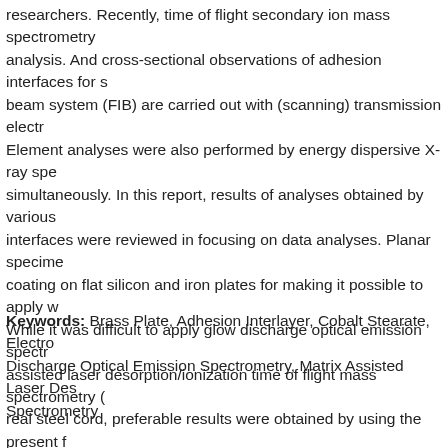researchers. Recently, time of flight secondary ion mass spectrometry analysis. And cross-sectional observations of adhesion interfaces for s beam system (FIB) are carried out with (scanning) transmission electr Element analyses were also performed by energy dispersive X-ray spe simultaneously. In this report, results of analyses obtained by various interfaces were reviewed in focusing on data analyses. Planar specime coating on flat silicon and iron plates for making it possible to apply w While it was difficult to apply glow discharge optical emission spectr assisted laser desorption/ionization time of flight mass spectrometry ( real steel cord, preferable results were obtained by using the present f
Keywords: Brass Plate, Adhesion Interlayer, Cobalt Stearate, Electro Discharge Optical Emission Spectrometry, Matrix Assisted Laser Des Spectrometry